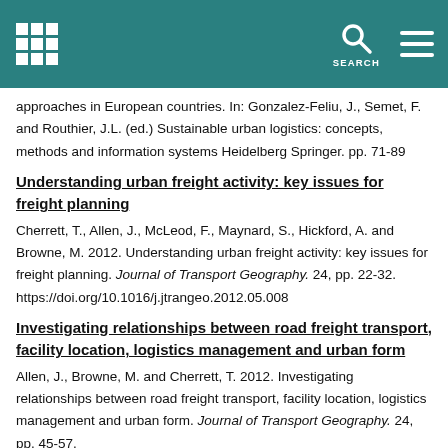SEARCH
approaches in European countries. In: Gonzalez-Feliu, J., Semet, F. and Routhier, J.L. (ed.) Sustainable urban logistics: concepts, methods and information systems Heidelberg Springer. pp. 71-89
Understanding urban freight activity: key issues for freight planning
Cherrett, T., Allen, J., McLeod, F., Maynard, S., Hickford, A. and Browne, M. 2012. Understanding urban freight activity: key issues for freight planning. Journal of Transport Geography. 24, pp. 22-32. https://doi.org/10.1016/j.jtrangeo.2012.05.008
Investigating relationships between road freight transport, facility location, logistics management and urban form
Allen, J., Browne, M. and Cherrett, T. 2012. Investigating relationships between road freight transport, facility location, logistics management and urban form. Journal of Transport Geography. 24, pp. 45-57.